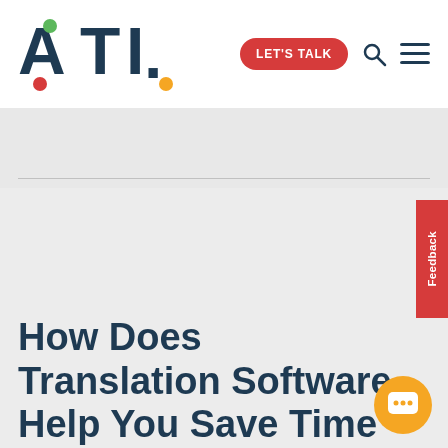[Figure (logo): ATL logo with green and red/orange dot accents, dark teal text]
[Figure (infographic): Navigation header with LET'S TALK red pill button, search icon, and hamburger menu]
How Does Translation Software Help You Save Time and Money
[Figure (infographic): Red vertical Feedback tab on right edge]
[Figure (infographic): Orange circular chat button bottom right]